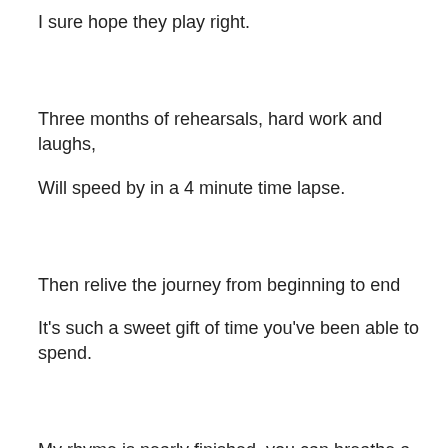I sure hope they play right.
Three months of rehearsals, hard work and laughs,
Will speed by in a 4 minute time lapse.
Then relive the journey from beginning to end
It's such a sweet gift of time you've been able to spend.
My rhyme is nearly finished, you can breathe a sigh of relief,
When I return to my seat, please don't give me any grief.